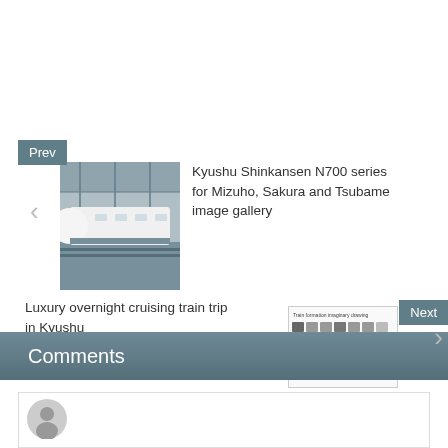[Figure (photo): White Kyushu Shinkansen N700 series bullet train at a station platform]
Kyushu Shinkansen N700 series for Mizuho, Sakura and Tsubame image gallery
Luxury overnight cruising train trip in Kyushu
[Figure (schematic): Train formation imaginary drawing diagram showing car formation with labels for Cars 2,3,5,6 and 7 as sleeping car, Car4 as Dining car, Car1h as Observational car]
Comments
[Figure (illustration): Generic user avatar silhouette icon]